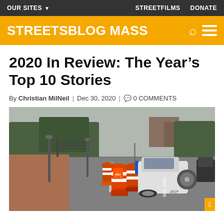OUR SITES ▾   STREETFILMS   DONATE
STREETSBLOG MASS
2020 In Review: The Year's Top 10 Stories
By Christian MilNeil | Dec 30, 2020 | 0 COMMENTS
[Figure (photo): Street scene with orange traffic barrels/cones with bike lane markings on a urban road; a white Jeep SUV is parked behind the cones. Trees, a fence, and brick sidewalk visible on the left. Overcast sky.]